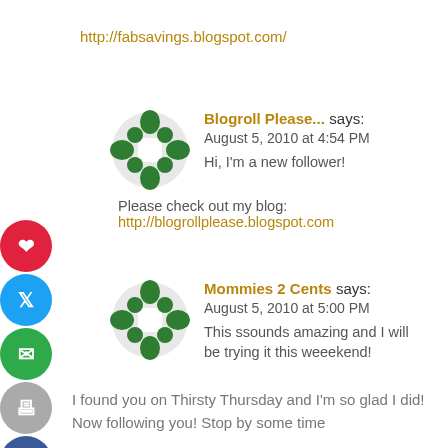http://fabsavings.blogspot.com/
Blogroll Please... says:
August 5, 2010 at 4:54 PM
Hi, I'm a new follower!

Please check out my blog:
http://blogrollplease.blogspot.com
Mommies 2 Cents says:
August 5, 2010 at 5:00 PM
This ssounds amazing and I will be trying it this weeekend!
I found you on Thirsty Thursday and I'm so glad I did! Now following you! Stop by some time